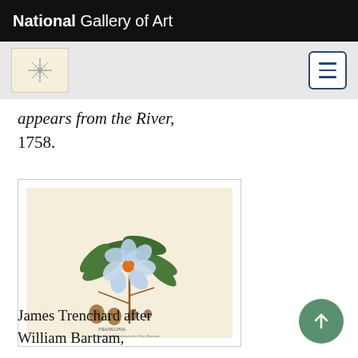National Gallery of Art
appears from the River, 1758.
[Figure (illustration): Botanical illustration of a flowering plant with blue flowers, green leaves, and seed pods, with text label at bottom reading 'FRANKLINIA' or similar. Watercolor/engraving style on cream paper.]
James Trenchard after William Bartram,